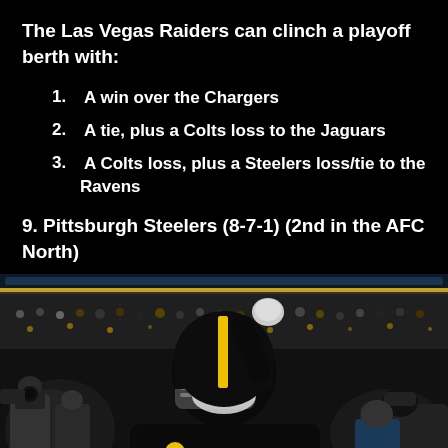The Las Vegas Raiders can clinch a playoff berth with:
1.  A win over the Chargers
2.  A tie, plus a Colts loss to the Jaguars
3.  A Colts loss, plus a Steelers loss/tie to the Ravens
9. Pittsburgh Steelers (8-7-1) (2nd in the AFC North)
[Figure (photo): Pittsburgh Steelers player wearing number 7 jersey and black helmet, waving to crowd in a stadium at night. Surrounded by photographers and fans in the stands wearing Steelers colors.]